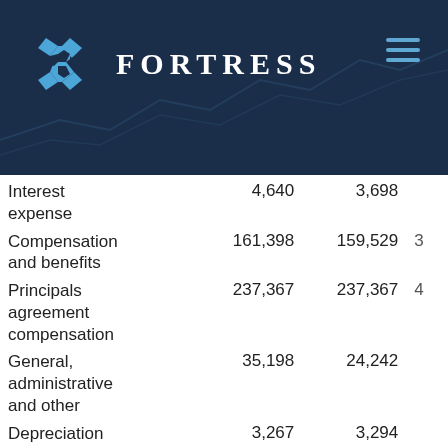[Figure (logo): Fortress Investment Group logo with blue diamond/cross pattern and company name FORTRESS in white bold serif letters]
|  | Col1 | Col2 | Col3 |
| --- | --- | --- | --- |
| Interest expense | 4,640 | 3,698 |  |
| Compensation and benefits | 161,398 | 159,529 | 3 |
| Principals agreement compensation | 237,367 | 237,367 | 4 |
| General, administrative and other | 35,198 | 24,242 |  |
| Depreciation and amortization | 3,267 | 3,294 |  |